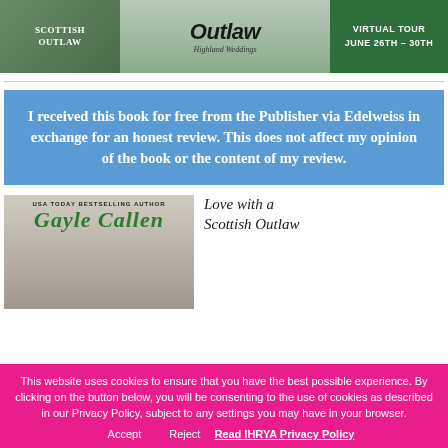[Figure (illustration): Book tour banner showing 'Scottish Outlaw' title in center, book cover on left, and green 'Virtual Tour June 26th - 30th' badge on right]
I received this book for free from the Publisher via Edelweiss in exchange for an honest review. This does not affect my opinion of the book or the content of my review.
[Figure (illustration): Partial book cover showing 'USA Today Bestselling Author' label and author name 'Gayle Callen' in green italic script, with misty background]
Love with a Scottish Outlaw
This website uses cookies to ensure that you have the best possible experience. By clicking on the button below, you will be consenting to the use of cookies as described in our Privacy Policy, subject to any settings you may have in your browser. Accept Reject Read IHRYA Privacy Policy